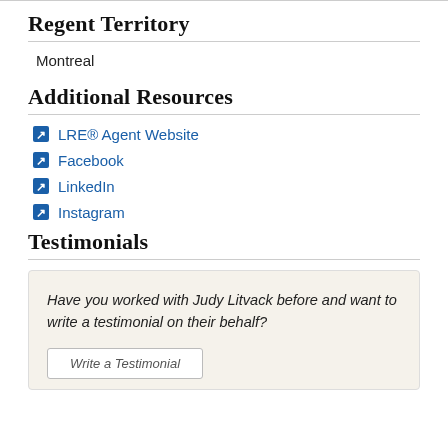Regent Territory
Montreal
Additional Resources
LRE® Agent Website
Facebook
LinkedIn
Instagram
Testimonials
Have you worked with Judy Litvack before and want to write a testimonial on their behalf?
Write a Testimonial